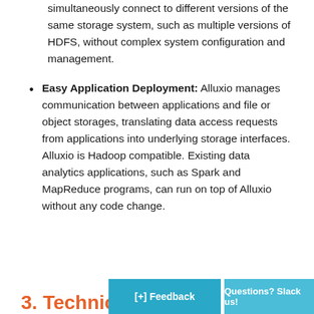simultaneously connect to different versions of the same storage system, such as multiple versions of HDFS, without complex system configuration and management.
Easy Application Deployment: Alluxio manages communication between applications and file or object storages, translating data access requests from applications into underlying storage interfaces. Alluxio is Hadoop compatible. Existing data analytics applications, such as Spark and MapReduce programs, can run on top of Alluxio without any code change.
3. Technic...